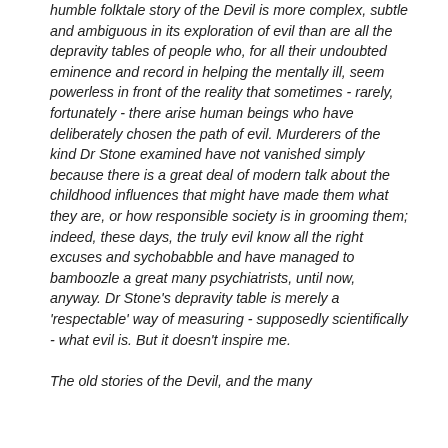humble folktale story of the Devil is more complex, subtle and ambiguous in its exploration of evil than are all the depravity tables of people who, for all their undoubted eminence and record in helping the mentally ill, seem powerless in front of the reality that sometimes - rarely, fortunately - there arise human beings who have deliberately chosen the path of evil. Murderers of the kind Dr Stone examined have not vanished simply because there is a great deal of modern talk about the childhood influences that might have made them what they are, or how responsible society is in grooming them; indeed, these days, the truly evil know all the right excuses and sychobabble and have managed to bamboozle a great many psychiatrists, until now, anyway. Dr Stone's depravity table is merely a 'respectable' way of measuring - supposedly scientifically - what evil is. But it doesn't inspire me.

The old stories of the Devil, and the many